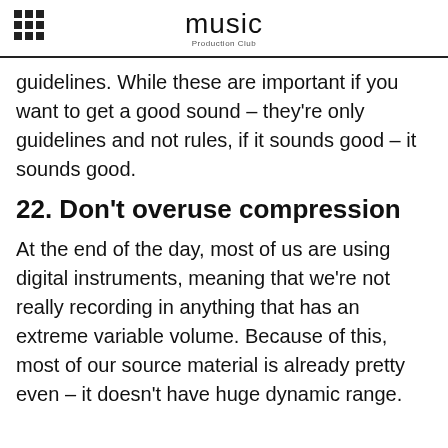music Production Club
guidelines. While these are important if you want to get a good sound – they're only guidelines and not rules, if it sounds good – it sounds good.
22. Don't overuse compression
At the end of the day, most of us are using digital instruments, meaning that we're not really recording in anything that has an extreme variable volume. Because of this, most of our source material is already pretty even – it doesn't have huge dynamic range.
Don't overuse compression though, as it if